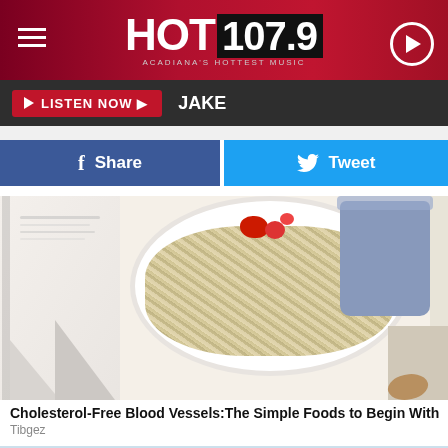HOT 107.9 ACADIANA'S HOTTEST MUSIC
LISTEN NOW ▶  JAKE
f  Share
Tweet
[Figure (photo): Bowl of oatmeal with red berries, blue cup on right, paper/book on left]
Cholesterol-Free Blood Vessels:The Simple Foods to Begin With
Tibgez
[Figure (photo): Dental professionals in white coats and masks working on a patient]
King Bed For A Queen Price Now
Mattress Firm Potomac Run Plaza